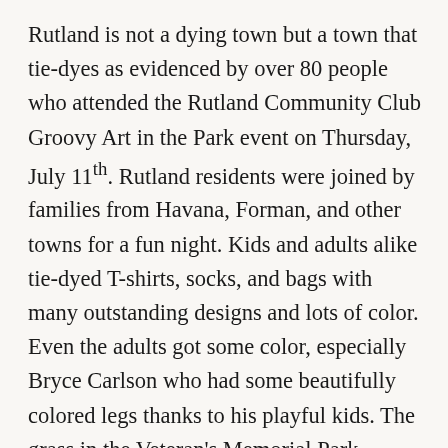Rutland is not a dying town but a town that tie-dyes as evidenced by over 80 people who attended the Rutland Community Club Groovy Art in the Park event on Thursday, July 11th. Rutland residents were joined by families from Havana, Forman, and other towns for a fun night. Kids and adults alike tie-dyed T-shirts, socks, and bags with many outstanding designs and lots of color. Even the adults got some color, especially Bryce Carlson who had some beautifully colored legs thanks to his playful kids. The grass in the Veteran's Memorial Park provided some color and many a child had colorful feet before they left. The Community Club provided refreshments and beautiful t-shirt cookies and multicolored cupcakes. Thanks to